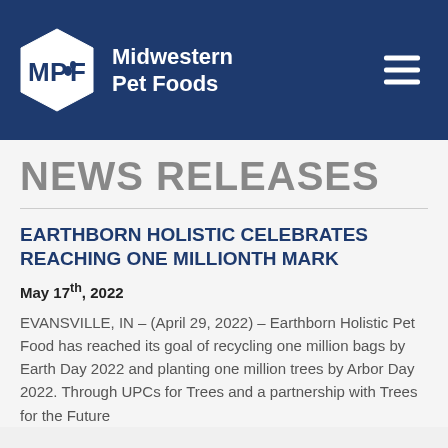[Figure (logo): Midwestern Pet Foods logo with hexagon MPF icon and brand name]
NEWS RELEASES
EARTHBORN HOLISTIC CELEBRATES REACHING ONE MILLIONTH MARK
May 17th, 2022
EVANSVILLE, IN – (April 29, 2022) – Earthborn Holistic Pet Food has reached its goal of recycling one million bags by Earth Day 2022 and planting one million trees by Arbor Day 2022. Through UPCs for Trees and a partnership with Trees for the Future